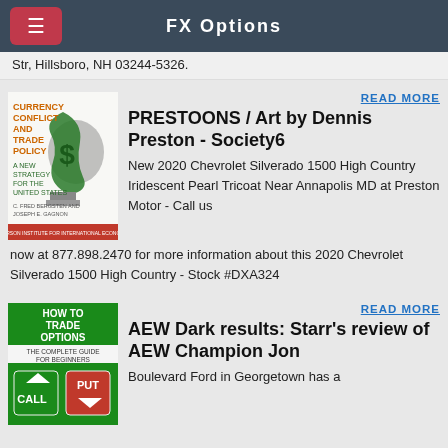FX Options
Str, Hillsboro, NH 03244-5326.
[Figure (illustration): Book cover: Currency Conflict and Trade Policy - A New Strategy for the United States, by C. Fred Bergsten and Joseph E. Gagnon, Peterson Institute for International Economics]
READ MORE
PRESTOONS / Art by Dennis Preston - Society6
New 2020 Chevrolet Silverado 1500 High Country Iridescent Pearl Tricoat Near Annapolis MD at Preston Motor - Call us now at 877.898.2470 for more information about this 2020 Chevrolet Silverado 1500 High Country - Stock #DXA324
[Figure (illustration): Book cover: How to Trade Options - The Complete Guide for Beginners, with CALL and PUT buttons]
READ MORE
AEW Dark results: Starr's review of AEW Champion Jon
Boulevard Ford in Georgetown has a